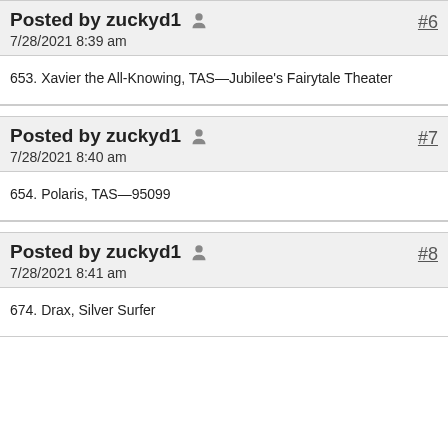Posted by zuckyd1  [user icon]
7/28/2021 8:39 am
#6
653. Xavier the All-Knowing, TAS—Jubilee's Fairytale Theater
Posted by zuckyd1  [user icon]
7/28/2021 8:40 am
#7
654. Polaris, TAS—95099
Posted by zuckyd1  [user icon]
7/28/2021 8:41 am
#8
674. Drax, Silver Surfer